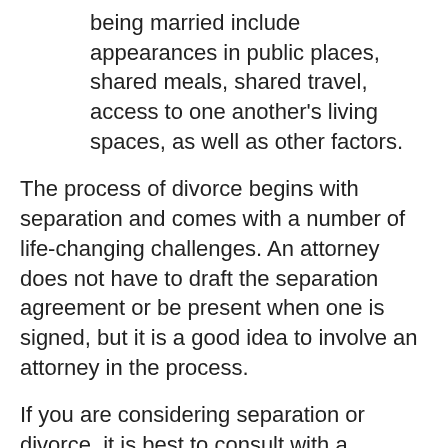being married include appearances in public places, shared meals, shared travel, access to one another's living spaces, as well as other factors.
The process of divorce begins with separation and comes with a number of life-changing challenges. An attorney does not have to draft the separation agreement or be present when one is signed, but it is a good idea to involve an attorney in the process.
If you are considering separation or divorce, it is best to consult with a professional you can trust. If you have questions about separation, call the law firm of SeiferFlatow today at 704-512-0606 to set up a consultation.
Don't let divorce take away the life you've built. Trust the attorneys at SeiFerFlatow to help deliver you